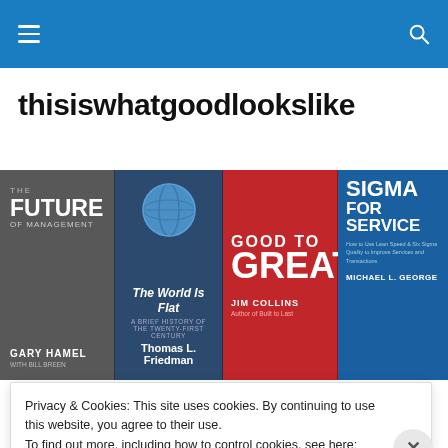[navigation bar with hamburger menu and search icon]
thisiswhatgoodlookslike
[Figure (photo): Four business book covers side by side: The Future of Management by Gary Hamel, The World Is Flat by Thomas L. Friedman, Good to Great by Jim Collins, Sigma for Service by Michael L. George]
Privacy & Cookies: This site uses cookies. By continuing to use this website, you agree to their use. To find out more, including how to control cookies, see here: Cookie Policy
Close and accept